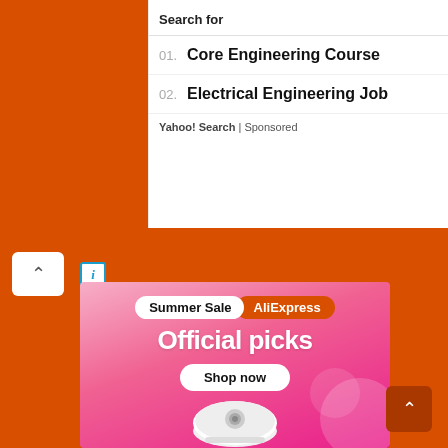Search for
01. Core Engineering Course
02. Electrical Engineering Job
Yahoo! Search | Sponsored
[Figure (screenshot): AliExpress Summer Sale advertisement banner with pink gradient background showing 'Summer Sale AliExpress Official picks Shop now' text and a robot vacuum cleaner image at the bottom]
[Figure (infographic): Orange website background with scroll-to-top button (chevron up) and info icon overlay]